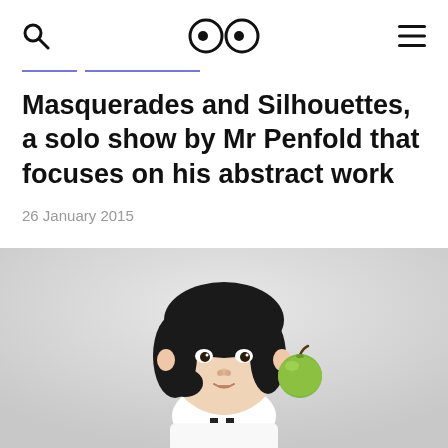search icon | logo (two eyes) | menu icon
Masquerades and Silhouettes, a solo show by Mr Penfold that focuses on his abstract work
26 January 2015
[Figure (photo): Portrait photograph of a young East Asian girl with a short dark bob haircut, wearing a white collared shirt with dark suspenders, with a green apple near her ear, against a light grey background.]